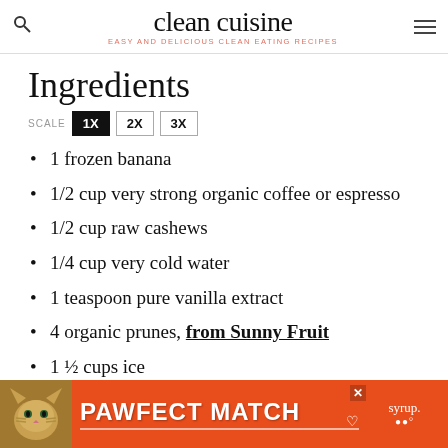clean cuisine — EASY AND DELICIOUS CLEAN EATING RECIPES
Ingredients
SCALE 1X 2X 3X
1 frozen banana
1/2 cup very strong organic coffee or espresso
1/2 cup raw cashews
1/4 cup very cold water
1 teaspoon pure vanilla extract
4 organic prunes, from Sunny Fruit
1 ½ cups ice
[Figure (infographic): Orange advertisement banner at bottom: PAWFECT MATCH with cat photo on left and close button]